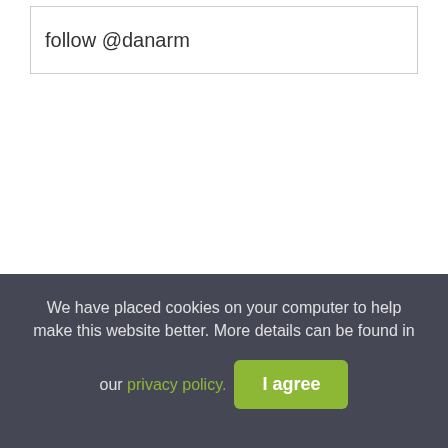follow @danarm
We have placed cookies on your computer to help make this website better. More details can be found in our privacy policy.
I agree